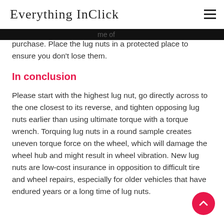Everything InClick
me of purchase. Place the lug nuts in a protected place to ensure you don't lose them.
In conclusion
Please start with the highest lug nut, go directly across to the one closest to its reverse, and tighten opposing lug nuts earlier than using ultimate torque with a torque wrench. Torquing lug nuts in a round sample creates uneven torque force on the wheel, which will damage the wheel hub and might result in wheel vibration. New lug nuts are low-cost insurance in opposition to difficult tire and wheel repairs, especially for older vehicles that have endured years or a long time of lug nuts.